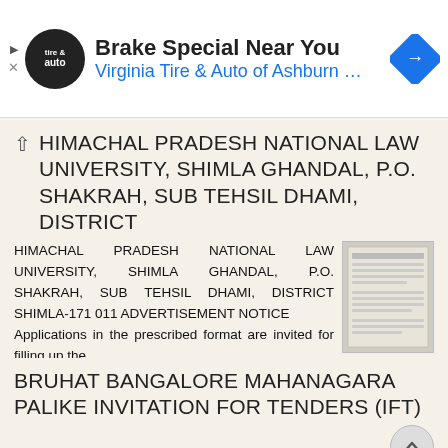[Figure (screenshot): Advertisement banner for Virginia Tire & Auto of Ashburn showing brake special offer with logo and navigation arrow icon]
HIMACHAL PRADESH NATIONAL LAW UNIVERSITY, SHIMLA GHANDAL, P.O. SHAKRAH, SUB TEHSIL DHAMI, DISTRICT
HIMACHAL PRADESH NATIONAL LAW UNIVERSITY, SHIMLA GHANDAL, P.O. SHAKRAH, SUB TEHSIL DHAMI, DISTRICT SHIMLA-171 011 ADVERTISEMENT NOTICE Applications in the prescribed format are invited for filling up the
More information →
BRUHAT BANGALORE MAHANAGARA PALIKE INVITATION FOR TENDERS (IFT)
EE/CKP/AE/E-pro/09    /14-15    BRUHAT